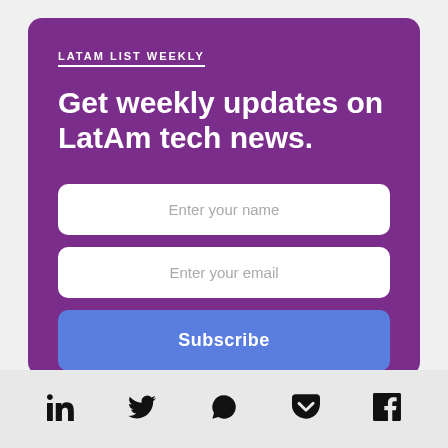LATAM LIST WEEKLY
Get weekly updates on LatAm tech news.
[Figure (infographic): Newsletter signup form with name input, email input, and subscribe button on a purple background card]
[Figure (infographic): Footer bar with social media icons: LinkedIn, Twitter, WhatsApp, Pocket, Facebook]